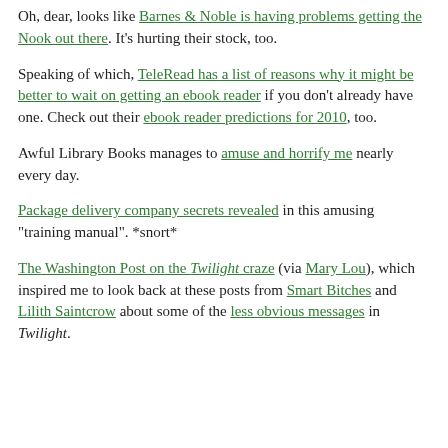Oh, dear, looks like Barnes & Noble is having problems getting the Nook out there. It's hurting their stock, too.
Speaking of which, TeleRead has a list of reasons why it might be better to wait on getting an ebook reader if you don't already have one. Check out their ebook reader predictions for 2010, too.
Awful Library Books manages to amuse and horrify me nearly every day.
Package delivery company secrets revealed in this amusing "training manual". *snort*
The Washington Post on the Twilight craze (via Mary Lou), which inspired me to look back at these posts from Smart Bitches and Lilith Saintcrow about some of the less obvious messages in Twilight.